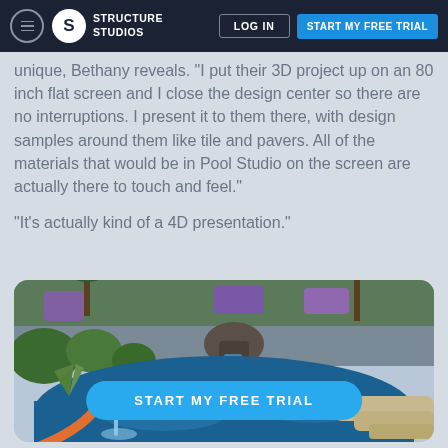Structure Studios — LOG IN | START MY FREE TRIAL
unique, Bethany reveals. "I put their 3D project up on an 80 inch flat screen and I close the design center so there are no interruptions. I present it to them there, with design samples around them like tile and pavers. All of the materials that would be in Pool Studio on the screen are actually there to touch and feel."
"It's actually kind of a 4D presentation."
[Figure (photo): 3D rendered swimming pool design with waterfall feature, lush tropical plants, purple flowers, a water slide, and spa area in a backyard setting]
START MY FREE TRIAL